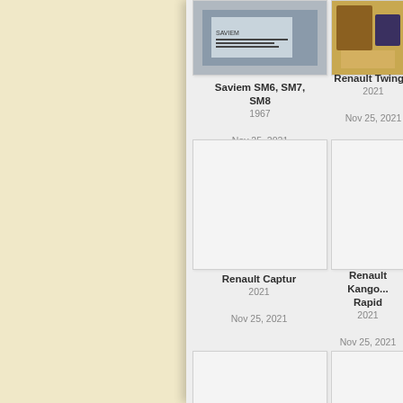[Figure (photo): Photo of Saviem SM6 SM7 SM8 brochure cover]
[Figure (photo): Photo of Renault Twingo related item]
Saviem SM6, SM7, SM8
1967
Nov 25, 2021
Renault Twing...
2021
Nov 25, 2021
[Figure (photo): Blank/white image placeholder for Renault Captur]
[Figure (photo): Blank/white image placeholder for Renault Kangoo Rapid]
Renault Captur
2021
Nov 25, 2021
Renault Kango... Rapid
2021
Nov 25, 2021
[Figure (photo): Blank/white image placeholder for another item]
[Figure (photo): Blank/white image placeholder for another item]